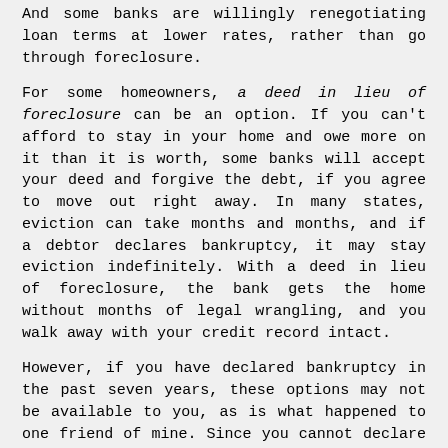And some banks are willingly renegotiating loan terms at lower rates, rather than go through foreclosure.
For some homeowners, a deed in lieu of foreclosure can be an option. If you can't afford to stay in your home and owe more on it than it is worth, some banks will accept your deed and forgive the debt, if you agree to move out right away. In many states, eviction can take months and months, and if a debtor declares bankruptcy, it may stay eviction indefinitely. With a deed in lieu of foreclosure, the bank gets the home without months of legal wrangling, and you walk away with your credit record intact.
However, if you have declared bankruptcy in the past seven years, these options may not be available to you, as is what happened to one friend of mine. Since you cannot declare bankruptcy more than every seven years, a threat to declare bankruptcy and screw the bank is an empty threat. In other words, you've surrendered that power again, and you are at their mercy.
Insurance is another field where people, particularly young